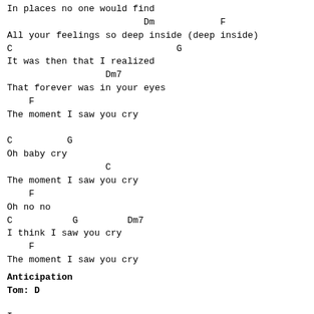In places no one would find
                         Dm            F
All your feelings so deep inside (deep inside)
C                              G
It was then that I realized
                  Dm7
That forever was in your eyes
    F
The moment I saw you cry

C          G
Oh baby cry
                  C
The moment I saw you cry
    F
Oh no no
C           G         Dm7
I think I saw you cry
    F
The moment I saw you cry
Anticipation
Tom: D
I.
D         G                         D
We can never know about the days to come
D         G                    Em      A
But we think about them anyway
      D         G                D
And I wonder if I'm really with you now